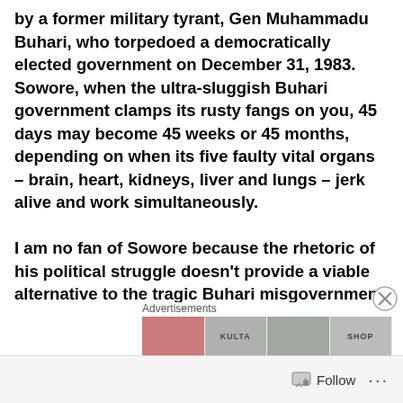by a former military tyrant, Gen Muhammadu Buhari, who torpedoed a democratically elected government on December 31, 1983. Sowore, when the ultra-sluggish Buhari government clamps its rusty fangs on you, 45 days may become 45 weeks or 45 months, depending on when its five faulty vital organs – brain, heart, kidneys, liver and lungs – jerk alive and work simultaneously.

I am no fan of Sowore because the rhetoric of his political struggle doesn't provide a viable alternative to the tragic Buhari misgovernment. However. I won't condemn
Advertisements
[Figure (photo): Advertisement banner with images of faces and text labels including 'SHOP']